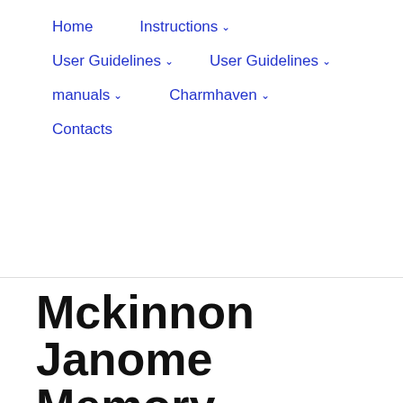Home  Instructions  User Guidelines  User Guidelines  manuals  Charmhaven  Contacts
Mckinnon Janome Memory